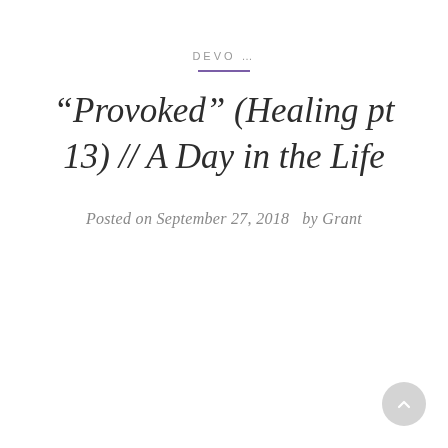DEVO …
“Provoked” (Healing pt 13) // A Day in the Life
Posted on September 27, 2018   by Grant